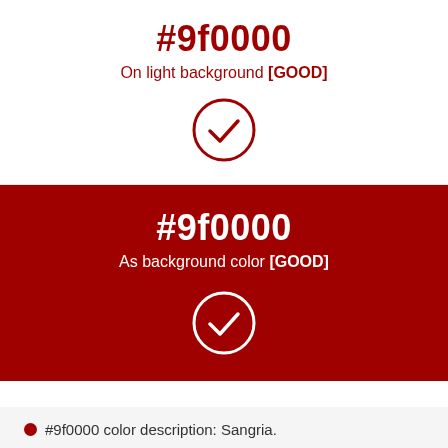#9f0000
On light background [GOOD]
[Figure (illustration): Circle with checkmark icon in dark red on white background]
#9f0000
As background color [GOOD]
[Figure (illustration): Circle with checkmark icon in white on dark red background]
#9f0000 color description: Sangria.